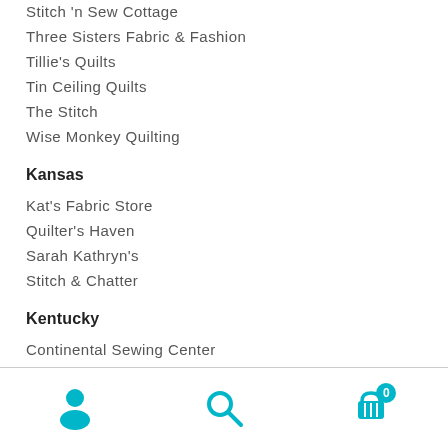Stitch 'n Sew Cottage
Three Sisters Fabric & Fashion
Tillie's Quilts
Tin Ceiling Quilts
The Stitch
Wise Monkey Quilting
Kansas
Kat's Fabric Store
Quilter's Haven
Sarah Kathryn's
Stitch & Chatter
Kentucky
Continental Sewing Center
Fabric World & Quilting
Navigation bar with person, search, and cart (0) icons